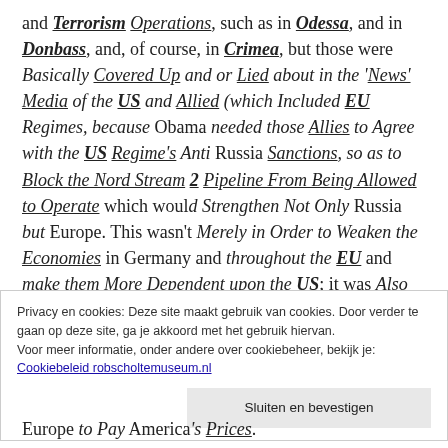and Terrorism Operations, such as in Odessa, and in Donbass, and, of course, in Crimea, but those were Basically Covered Up and or Lied about in the 'News' Media of the US and Allied (which Included EU Regimes, because Obama needed those Allies to Agree with the US Regime's Anti Russia Sanctions, so as to Block the Nord Stream 2 Pipeline From Being Allowed to Operate which would Strengthen Not Only Russia but Europe. This wasn't Merely in Order to Weaken the Economies in Germany and throughout the EU and make them More Dependent upon the US; it was Also in Order to
Privacy en cookies: Deze site maakt gebruik van cookies. Door verder te gaan op deze site, ga je akkoord met het gebruik hiervan. Voor meer informatie, onder andere over cookiebeheer, bekijk je: Cookiebeleid robscholtemuseum.nl
Sluiten en bevestigen
Europe to Pay America's Prices.